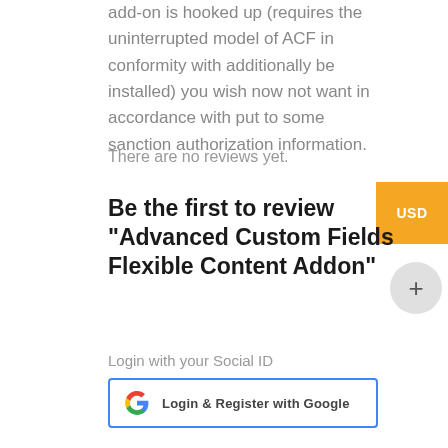add-on is hooked up (requires the uninterrupted model of ACF in conformity with additionally be installed) you wish now not want in accordance with put to some sanction authorization information.
There are no reviews yet.
Be the first to review "Advanced Custom Fields Flexible Content Addon"
Login with your Social ID
Login & Register with Google